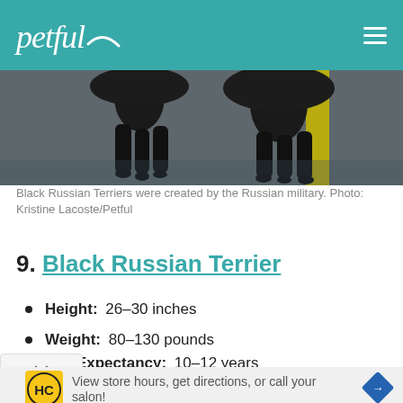petful
[Figure (photo): Black Russian Terriers walking on wet pavement with a yellow line visible, their fluffy black legs and paws shown from a low angle.]
Black Russian Terriers were created by the Russian military. Photo: Kristine Lacoste/Petful
9. Black Russian Terrier
Height: 26–30 inches
Weight: 80–130 pounds
Life Expectancy: 10–12 years